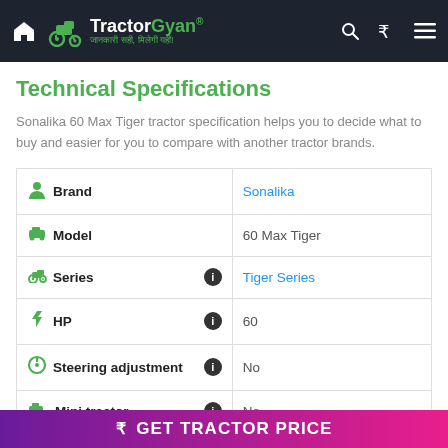TractorGyan® — जानकारी सही, मिलेगी यहीं!
Technical Specifications
Sonalika 60 Max Tiger tractor specification helps you to decide what to buy and easier for you to compare with another tractor brands.
| Specification | Value |
| --- | --- |
| Brand | Sonalika |
| Model | 60 Max Tiger |
| Series | Tiger Series |
| HP | 60 |
| Steering adjustment | No |
| Mini tractor | No |
| Wheel drive | 2WD |
₹ GET TRACTOR PRICE